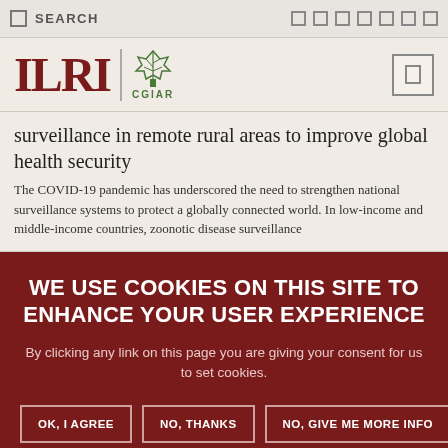SEARCH
[Figure (logo): ILRI CGIAR logo with wheat/plant emblem in green]
surveillance in remote rural areas to improve global health security
The COVID-19 pandemic has underscored the need to strengthen national surveillance systems to protect a globally connected world. In low-income and middle-income countries, zoonotic disease surveillance
WE USE COOKIES ON THIS SITE TO ENHANCE YOUR USER EXPERIENCE
By clicking any link on this page you are giving your consent for us to set cookies.
OK, I AGREE
NO, THANKS
NO, GIVE ME MORE INFO